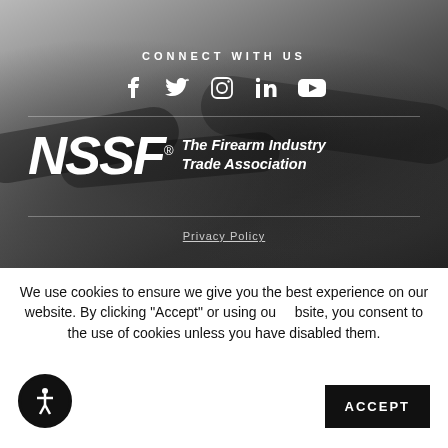[Figure (photo): Dark background with blurred gun/firearm details, serving as hero section background]
CONNECT WITH US
[Figure (infographic): Social media icons row: Facebook, Twitter, Instagram, LinkedIn, YouTube — white icons on dark background]
[Figure (logo): NSSF® The Firearm Industry Trade Association logo in white on dark background]
Privacy Policy
We use cookies to ensure we give you the best experience on our website. By clicking "Accept" or using our website, you consent to the use of cookies unless you have disabled them.
[Figure (other): Accessibility icon button (person in circle)]
ACCEPT